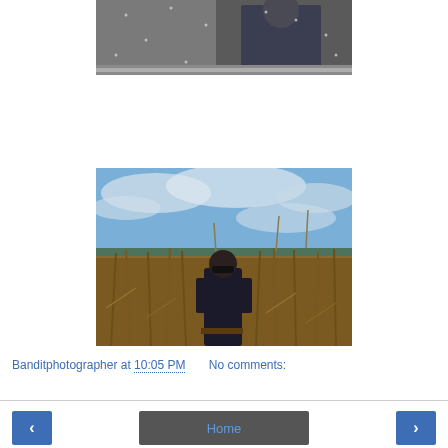[Figure (photo): Black and white photo of a person in a jacket standing against a concrete wall, with snow or rain visible]
[Figure (photo): Color photo of a person wearing sunglasses standing in a dry cornfield with a cloudy blue sky in the background]
Banditphotographer at 10:05 PM    No comments:
< Home >